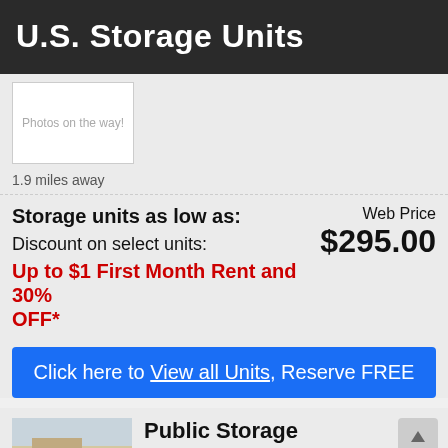U.S. Storage Units
[Figure (photo): Placeholder image with text 'Photos on the way!']
1.9 miles away
Storage units as low as:
Web Price $295.00
Discount on select units:
Up to $1 First Month Rent and 30% OFF*
Click here to View all Units, Reserve FREE
[Figure (photo): Building exterior photo for Public Storage Monroe, numbered 4]
Public Storage Monroe
5530 W Highway 74,